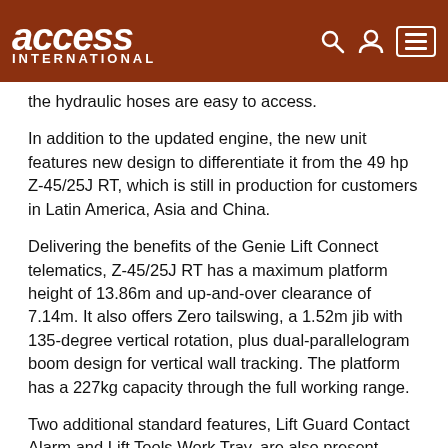Access International
the hydraulic hoses are easy to access.
In addition to the updated engine, the new unit features new design to differentiate it from the 49 hp Z-45/25J RT, which is still in production for customers in Latin America, Asia and China.
Delivering the benefits of the Genie Lift Connect telematics, Z-45/25J RT has a maximum platform height of 13.86m and up-and-over clearance of 7.14m. It also offers Zero tailswing, a 1.52m jib with 135-degree vertical rotation, plus dual-parallelogram boom design for vertical wall tracking. The platform has a 227kg capacity through the full working range.
Two additional standard features, Lift Guard Contact Alarm and Lift Tools Work Tray, are also present.